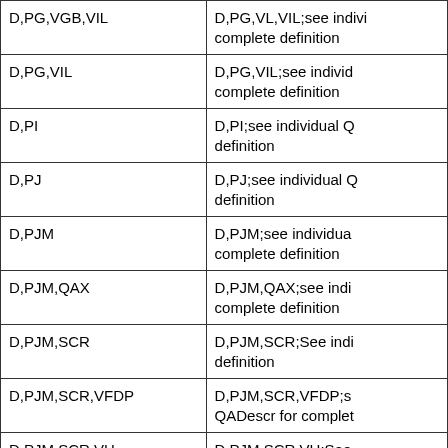| D,PG,VGB,VIL | D,PG,VL,VIL;see individual Q... complete definition |
| D,PG,VIL | D,PG,VIL;see individual complete definition |
| D,PI | D,PI;see individual Q... definition |
| D,PJ | D,PJ;see individual Q... definition |
| D,PJM | D,PJM;see individual complete definition |
| D,PJM,QAX | D,PJM,QAX;see individual complete definition |
| D,PJM,SCR | D,PJM,SCR;See individual definition |
| D,PJM,SCR,VFDP | D,PJM,SCR,VFDP;see QADescr for complete definition |
| D,PJM,SCR,VH | D,PJM,SCR,VH;See individual for definition |
| D,PJM,VBZ15 | D,PJM,VBZ15;see individual complete definition |
| D,PJM,VFDP | D,PJM,VFDP;see individual complete definition |